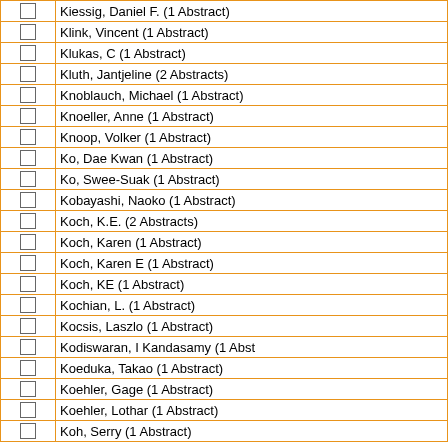|  | Name |
| --- | --- |
|  | Kiessig, Daniel F. (1 Abstract) |
|  | Klink, Vincent (1 Abstract) |
|  | Klukas, C (1 Abstract) |
|  | Kluth, Jantjeline (2 Abstracts) |
|  | Knoblauch, Michael (1 Abstract) |
|  | Knoeller, Anne (1 Abstract) |
|  | Knoop, Volker (1 Abstract) |
|  | Ko, Dae Kwan (1 Abstract) |
|  | Ko, Swee-Suak (1 Abstract) |
|  | Kobayashi, Naoko (1 Abstract) |
|  | Koch, K.E. (2 Abstracts) |
|  | Koch, Karen (1 Abstract) |
|  | Koch, Karen E (1 Abstract) |
|  | Koch, KE (1 Abstract) |
|  | Kochian, L. (1 Abstract) |
|  | Kocsis, Laszlo (1 Abstract) |
|  | Kodiswaran, I Kandasamy (1 Abst... |
|  | Koeduka, Takao (1 Abstract) |
|  | Koehler, Gage (1 Abstract) |
|  | Koehler, Lothar (1 Abstract) |
|  | Koh, Serry (1 Abstract) |